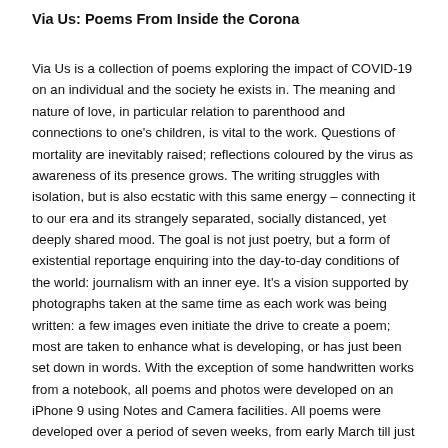Via Us: Poems From Inside the Corona
Via Us is a collection of poems exploring the impact of COVID-19 on an individual and the society he exists in. The meaning and nature of love, in particular relation to parenthood and connections to one's children, is vital to the work. Questions of mortality are inevitably raised; reflections coloured by the virus as awareness of its presence grows. The writing struggles with isolation, but is also ecstatic with this same energy – connecting it to our era and its strangely separated, socially distanced, yet deeply shared mood. The goal is not just poetry, but a form of existential reportage enquiring into the day-to-day conditions of the world: journalism with an inner eye. It's a vision supported by photographs taken at the same time as each work was being written: a few images even initiate the drive to create a poem; most are taken to enhance what is developing, or has just been set down in words. With the exception of some handwritten works from a notebook, all poems and photos were developed on an iPhone 9 using Notes and Camera facilities. All poems were developed over a period of seven weeks, from early March till just after Easter in April 2020. All